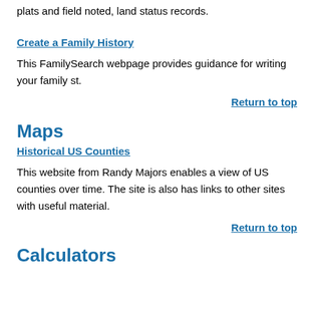plats and field noted, land status records.
Create a Family History
This FamilySearch webpage provides guidance for writing your family st.
Return to top
Maps
Historical US Counties
This website from Randy Majors enables a view of US counties over time. The site is also has links to other sites with useful material.
Return to top
Calculators